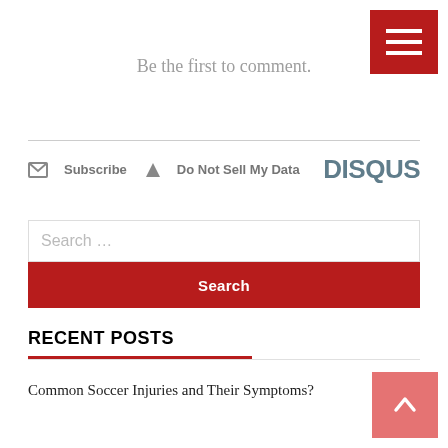[Figure (other): Red hamburger menu button with three white horizontal bars in top-right corner]
Be the first to comment.
Subscribe  Do Not Sell My Data  DISQUS
Search …
Search
RECENT POSTS
Common Soccer Injuries and Their Symptoms?
[Figure (other): Pink/salmon back-to-top button with white upward chevron arrow in bottom-right corner]